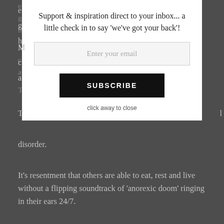disorder.
It's resentment that others are able to eat, rest and live without a flipping soundtrack of 'anorexic doom' ringing in their ears 24/7.
It's resignation that I'll be stuck with this illness to some degree – forever.
It's envy of others who are further along their recovery
[Figure (screenshot): Email subscription modal overlay with title 'Support & inspiration direct to your inbox... a little check in to say we've got your back!', an email input field, a SUBSCRIBE button, and 'click away to close' text]